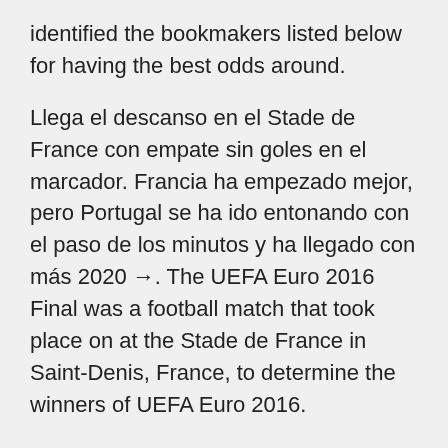identified the bookmakers listed below for having the best odds around.
Llega el descanso en el Stade de France con empate sin goles en el marcador. Francia ha empezado mejor, pero Portugal se ha ido entonando con el paso de los minutos y ha llegado con más 2020 →. The UEFA Euro 2016 Final was a football match that took place on at the Stade de France in Saint-Denis, France, to determine the winners of UEFA Euro 2016.
Final segunda parte, Francia 0, Portugal 0. 92' Remate fallado por Anthony Martial (Francia) remate con la derecha desde el centro del área que se le va demasiado alto. Asistencia de N'Golo Kanté con un centro al área. Stay up to date with the full schedule of International friendlies 2020 or get the latest gambling...